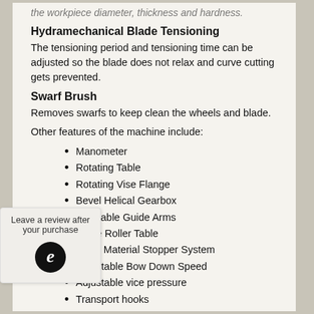the workpiece diameter, thickness and hardness.
Hydramechanical Blade Tensioning
The tensioning period and tensioning time can be adjusted so the blade does not relax and curve cutting gets prevented.
Swarf Brush
Removes swarfs to keep clean the wheels and blade.
Other features of the machine include:
Manometer
Rotating Table
Rotating Vise Flange
Bevel Helical Gearbox
Moveable Guide Arms
Angle Roller Table
10cm Material Stopper System
Adjustable Bow Down Speed
Adjustable vice pressure
Transport hooks
Levelling Foot Leg
Cover Switch